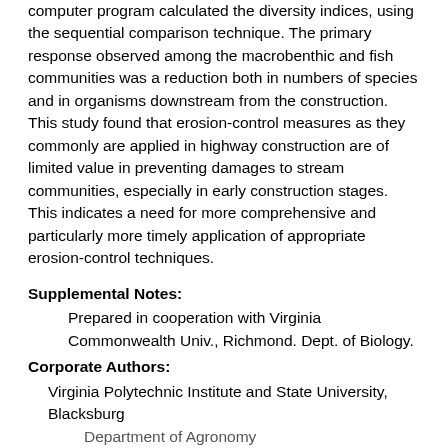computer program calculated the diversity indices, using the sequential comparison technique. The primary response observed among the macrobenthic and fish communities was a reduction both in numbers of species and in organisms downstream from the construction. This study found that erosion-control measures as they commonly are applied in highway construction are of limited value in preventing damages to stream communities, especially in early construction stages. This indicates a need for more comprehensive and particularly more timely application of appropriate erosion-control techniques.
Supplemental Notes:
Prepared in cooperation with Virginia Commonwealth Univ., Richmond. Dept. of Biology.
Corporate Authors:
Virginia Polytechnic Institute and State University, Blacksburg
Department of Agronomy
Blacksburg, VA  United States  24061
Virginia Commonwealth University, Richmond
Center for Public Policy, 919 West Franklin Street, P.O. Box 843061
Richmond, United States  23284-2061